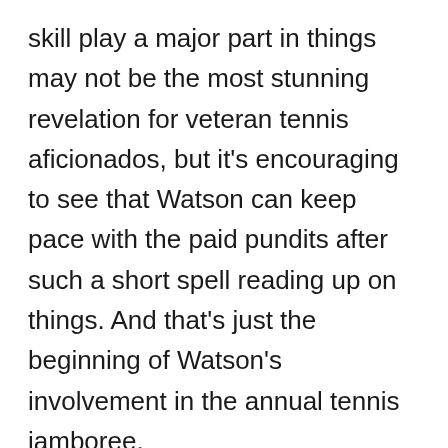skill play a major part in things may not be the most stunning revelation for veteran tennis aficionados, but it's encouraging to see that Watson can keep pace with the paid pundits after such a short spell reading up on things. And that's just the beginning of Watson's involvement in the annual tennis jamboree.
The IBM SlamTracker, along with providing fans with live real-time stats of the matches, also takes advantage of insights collected through historical data. Not only will fans be provided with specific player tactics to look out for ahead of a game, but close attention is paid to "key situations" within a match by...